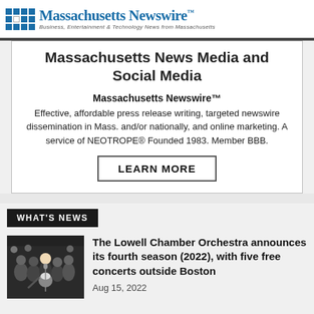Massachusetts Newswire™ — Business, Entertainment & Technology News from Massachusetts
Massachusetts News Media and Social Media
Massachusetts Newswire™
Effective, affordable press release writing, targeted newswire dissemination in Mass. and/or nationally, and online marketing. A service of NEOTROPE® Founded 1983. Member BBB.
LEARN MORE
WHAT'S NEWS
[Figure (photo): Group photo of orchestra musicians in formal attire]
The Lowell Chamber Orchestra announces its fourth season (2022), with five free concerts outside Boston
Aug 15, 2022